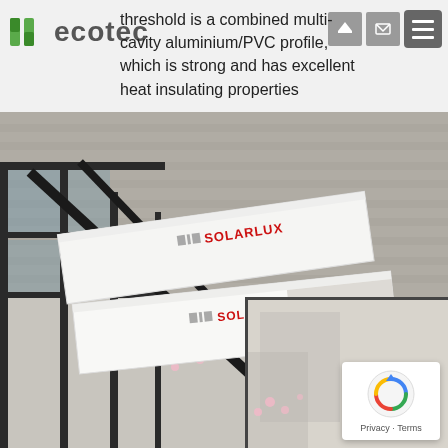threshold is a combined multi-cavity aluminium/PVC profile, which is strong and has excellent heat insulating properties
[Figure (photo): Photo of Solarlux branded brochures/catalogues laid on a wooden deck surface alongside a dark aluminium folding glass door system. Two white brochures with red SOLARLUX branding are visible on the deck. Bottom right shows an interior architectural photo. A reCAPTCHA privacy badge is overlaid in the bottom-right corner.]